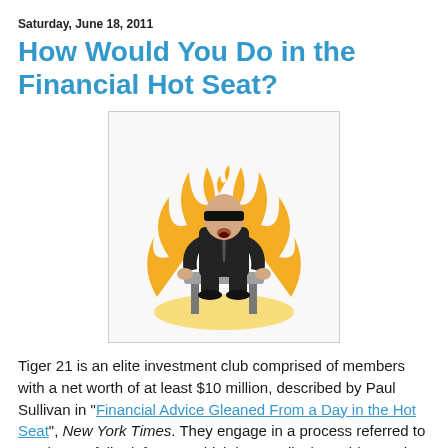Saturday, June 18, 2011
How Would You Do in the Financial Hot Seat?
[Figure (illustration): A blindfolded man in a dark suit sitting on a chair engulfed in flames, representing the 'financial hot seat' concept.]
Tiger 21 is an elite investment club comprised of members with a net worth of at least $10 million, described by Paul Sullivan in "Financial Advice Gleaned From a Day in the Hot Seat", New York Times. They engage in a process referred to as "the portfolio defense," which in actuality is a wide-ranging frank appraisal of life style, finances, etc. Michael